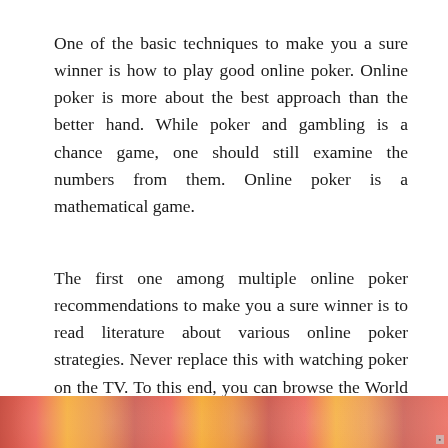One of the basic techniques to make you a sure winner is how to play good online poker. Online poker is more about the best approach than the better hand. While poker and gambling is a chance game, one should still examine the numbers from them. Online poker is a mathematical game.
The first one among multiple online poker recommendations to make you a sure winner is to read literature about various online poker strategies. Never replace this with watching poker on the TV. To this end, you can browse the World Wide Web; you can find numerous resources. You can also connect to several poker sites that give you essential materials to raise your profits.
[Figure (photo): A strip of colorful poker chips or cards at the bottom of the page, with red, orange, and yellow tones.]